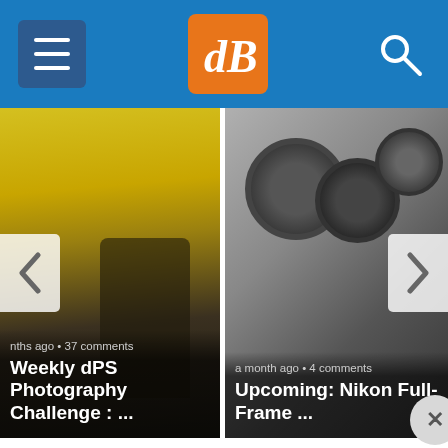dPS - Digital Photography School
[Figure (screenshot): Left card: Weekly dPS Photography Challenge article thumbnail with child skateboarding in front of yellow wall. Shows 'nths ago · 37 comments' meta text.]
[Figure (screenshot): Right card: Upcoming: Nikon Full-Frame article thumbnail showing camera lenses. Shows 'a month ago · 4 comments' meta text.]
Join over 1.6 million Subscribers!
[Figure (infographic): Social media subscribe icons row: email (envelope), RSS feed, Facebook, Instagram, Twitter]